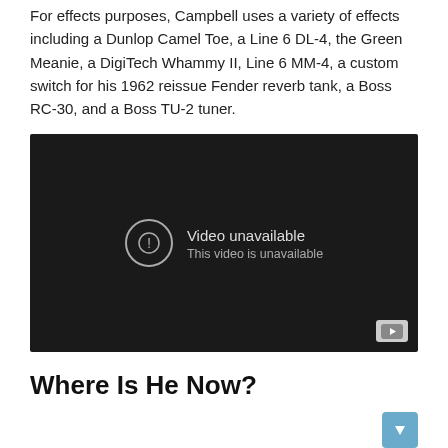For effects purposes, Campbell uses a variety of effects including a Dunlop Camel Toe, a Line 6 DL-4, the Green Meanie, a DigiTech Whammy II, Line 6 MM-4, a custom switch for his 1962 reissue Fender reverb tank, a Boss RC-30, and a Boss TU-2 tuner.
[Figure (screenshot): Embedded YouTube video player showing 'Video unavailable – This video is unavailable' error message on a dark background.]
Where Is He Now?